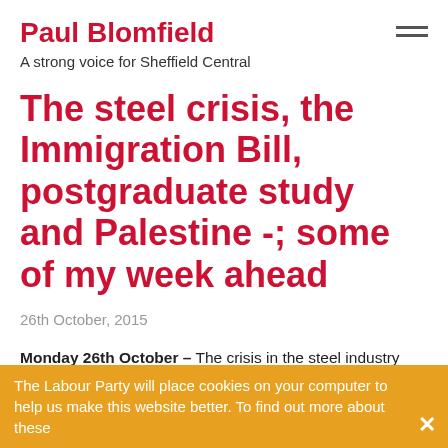Paul Blomfield – A strong voice for Sheffield Central
The steel crisis, the Immigration Bill, postgraduate study and Palestine -; some of my week ahead
26th October, 2015
Monday 26th October – The crisis in the steel industry has dominated the headlines over the last fortnight and
The Labour Party will place cookies on your computer to help us make this website better. To find out more about these